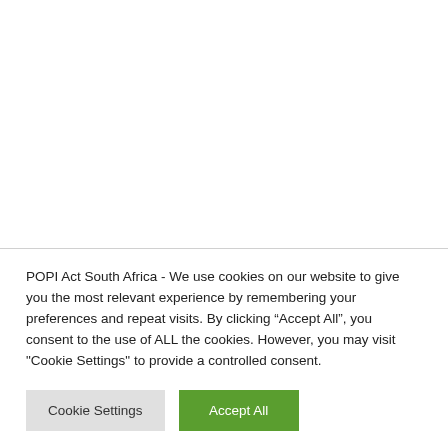POPI Act South Africa - We use cookies on our website to give you the most relevant experience by remembering your preferences and repeat visits. By clicking “Accept All”, you consent to the use of ALL the cookies. However, you may visit "Cookie Settings" to provide a controlled consent.
Cookie Settings
Accept All